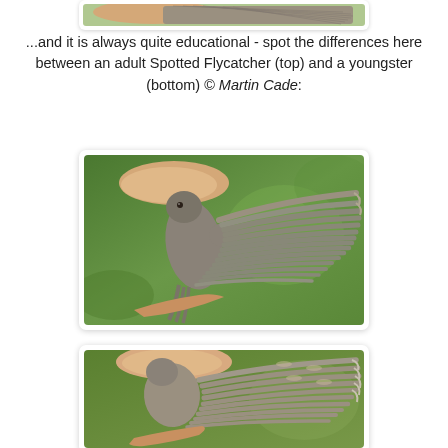[Figure (photo): Partial view of an adult Spotted Flycatcher bird wing held in a hand, top portion cropped]
...and it is always quite educational - spot the differences here between an adult Spotted Flycatcher (top) and a youngster (bottom) © Martin Cade:
[Figure (photo): Adult Spotted Flycatcher bird held in hand with wing spread open, showing feather pattern against green background]
[Figure (photo): Juvenile Spotted Flycatcher bird held in hand with wing spread, showing feather pattern, partially cropped at bottom]